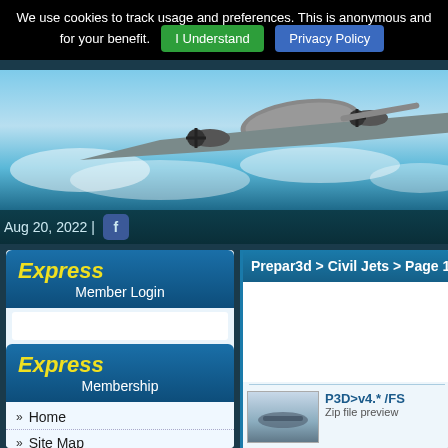We use cookies to track usage and preferences. This is anonymous and for your benefit. I Understand | Privacy Policy
[Figure (photo): Vintage propeller aircraft (B-17 style bomber) flying through blue sky with clouds, viewed from below]
Aug 20, 2022 |
Express Member Login
Express Membership
Home
Site Map
Upload a File
Forums
Prepar3d > Civil Jets > Page 16
[Figure (photo): Thumbnail of a civil jet aircraft, grayscale/blue toned photo]
P3D>v4.* /FS Zip file preview